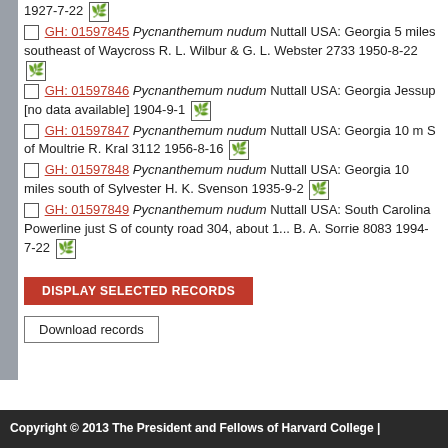1927-7-22 [leaf icon]
GH: 01597845 Pycnanthemum nudum Nuttall USA: Georgia 5 miles southeast of Waycross R. L. Wilbur & G. L. Webster 2733 1950-8-22 [leaf icon]
GH: 01597846 Pycnanthemum nudum Nuttall USA: Georgia Jessup [no data available] 1904-9-1 [leaf icon]
GH: 01597847 Pycnanthemum nudum Nuttall USA: Georgia 10 m S of Moultrie R. Kral 3112 1956-8-16 [leaf icon]
GH: 01597848 Pycnanthemum nudum Nuttall USA: Georgia 10 miles south of Sylvester H. K. Svenson 1935-9-2 [leaf icon]
GH: 01597849 Pycnanthemum nudum Nuttall USA: South Carolina Powerline just S of county road 304, about 1... B. A. Sorrie 8083 1994-7-22 [leaf icon]
DISPLAY SELECTED RECORDS
Download records
Copyright © 2013 The President and Fellows of Harvard College |